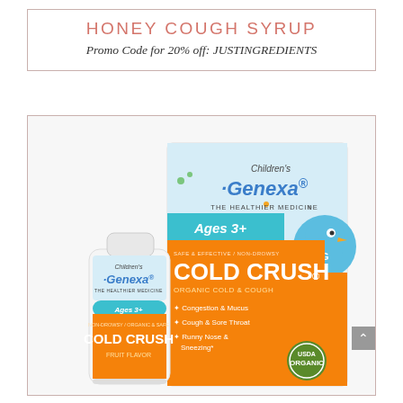HONEY COUGH SYRUP
Promo Code for 20% off: JUSTINGREDIENTS
[Figure (photo): Children's Genexa Cold Crush product photo showing a bottle and box. The box reads: Children's Genexa THE HEALTHIER MEDICINE, Ages 3+, COLD CRUSH, ORGANIC COLD & COUGH, Congestion & Mucus, Cough & Sore Throat, Runny Nose & Sneezing. USDA Organic seal visible. The bottle shows Children's Genexa COLD CRUSH branding with orange and white labels.]